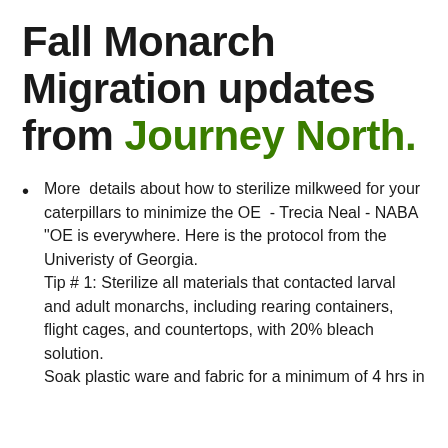Fall Monarch Migration updates from Journey North.
More  details about how to sterilize milkweed for your caterpillars to minimize the OE  - Trecia Neal - NABA "OE is everywhere. Here is the protocol from the Univeristy of Georgia. Tip # 1: Sterilize all materials that contacted larval and adult monarchs, including rearing containers, flight cages, and countertops, with 20% bleach solution. Soak plastic ware and fabric for a minimum of 4 hrs in